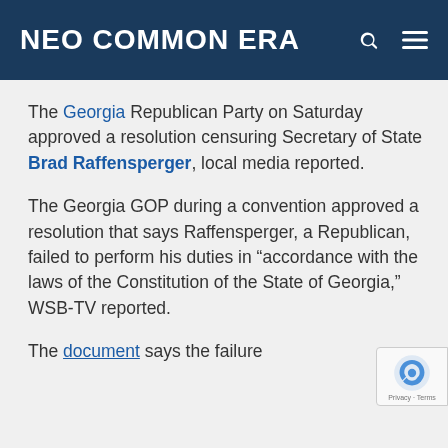NEO COMMON ERA
The Georgia Republican Party on Saturday approved a resolution censuring Secretary of State Brad Raffensperger, local media reported.
The Georgia GOP during a convention approved a resolution that says Raffensperger, a Republican, failed to perform his duties in “accordance with the laws of the Constitution of the State of Georgia,” WSB-TV reported.
The document says the failure